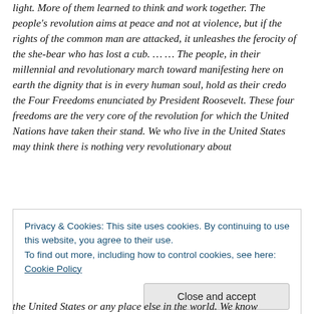light. More of them learned to think and work together. The people's revolution aims at peace and not at violence, but if the rights of the common man are attacked, it unleashes the ferocity of the she-bear who has lost a cub. … … The people, in their millennial and revolutionary march toward manifesting here on earth the dignity that is in every human soul, hold as their credo the Four Freedoms enunciated by President Roosevelt. These four freedoms are the very core of the revolution for which the United Nations have taken their stand. We who live in the United States may think there is nothing very revolutionary about
Privacy & Cookies: This site uses cookies. By continuing to use this website, you agree to their use.
To find out more, including how to control cookies, see here: Cookie Policy
the United States or any place else in the world. We know